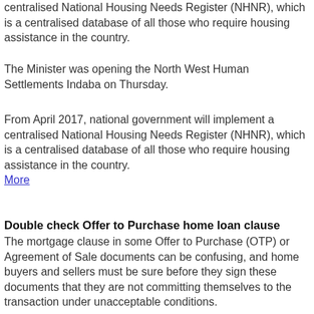centralised National Housing Needs Register (NHNR), which is a centralised database of all those who require housing assistance in the country.
The Minister was opening the North West Human Settlements Indaba on Thursday.
From April 2017, national government will implement a centralised National Housing Needs Register (NHNR), which is a centralised database of all those who require housing assistance in the country.
More
Double check Offer to Purchase home loan clause
The mortgage clause in some Offer to Purchase (OTP) or Agreement of Sale documents can be confusing, and home buyers and sellers must be sure before they sign these documents that they are not committing themselves to the transaction under unacceptable conditions.